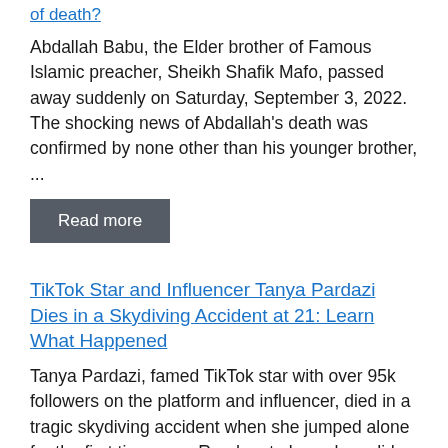of death?
Abdallah Babu, the Elder brother of Famous Islamic preacher, Sheikh Shafik Mafo, passed away suddenly on Saturday, September 3, 2022. The shocking news of Abdallah's death was confirmed by none other than his younger brother, ...
Read more
TikTok Star and Influencer Tanya Pardazi Dies in a Skydiving Accident at 21: Learn What Happened
Tanya Pardazi, famed TikTok star with over 95k followers on the platform and influencer, died in a tragic skydiving accident when she jumped alone for the first time ever. Read on to know how did ...